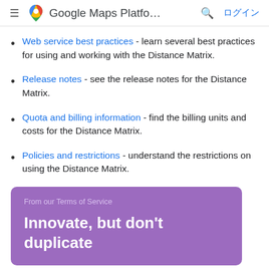Google Maps Platfo… ログイン
Web service best practices - learn several best practices for using and working with the Distance Matrix.
Release notes - see the release notes for the Distance Matrix.
Quota and billing information - find the billing units and costs for the Distance Matrix.
Policies and restrictions - understand the restrictions on using the Distance Matrix.
From our Terms of Service
Innovate, but don't duplicate